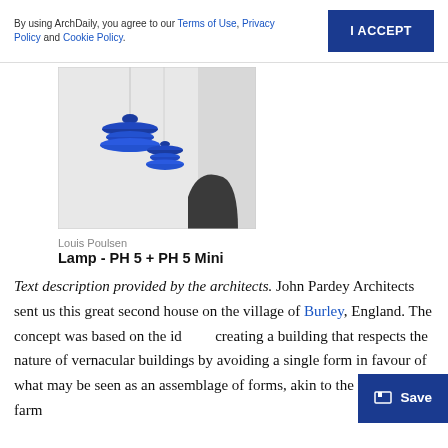By using ArchDaily, you agree to our Terms of Use, Privacy Policy and Cookie Policy.
I ACCEPT
[Figure (photo): Two blue PH 5 pendant lamps hanging from ceiling against a white/grey minimalist interior background]
Louis Poulsen
Lamp - PH 5 + PH 5 Mini
Text description provided by the architects. John Pardey Architects sent us this great second house on the village of Burley, England. The concept was based on the idea of creating a building that respects the nature of vernacular buildings by avoiding a single form in favour of what may be seen as an assemblage of forms, akin to the typology of farm